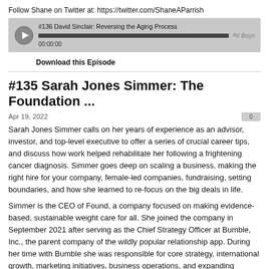Follow Shane on Twitter at: https://twitter.com/ShaneAParrish
[Figure (other): Podcast audio player showing episode '#136 David Sinclair: Reversing the Aging Process' with progress bar, timestamp 00:00:00, and Libsyn logo]
Download this Episode
#135 Sarah Jones Simmer: The Foundation ...
Apr 19, 2022
Sarah Jones Simmer calls on her years of experience as an advisor, investor, and top-level executive to offer a series of crucial career tips, and discuss how work helped rehabilitate her following a frightening cancer diagnosis. Simmer goes deep on scaling a business, making the right hire for your company, female-led companies, fundraising, setting boundaries, and how she learned to re-focus on the big deals in life.
Simmer is the CEO of Found, a company focused on making evidence-based, sustainable weight care for all. She joined the company in September 2021 after serving as the Chief Strategy Officer at Bumble, Inc., the parent company of the wildly popular relationship app. During her time with Bumble she was responsible for core strategy, international growth, marketing initiatives, business operations, and expanding Bumble's rapidly growing team. She also